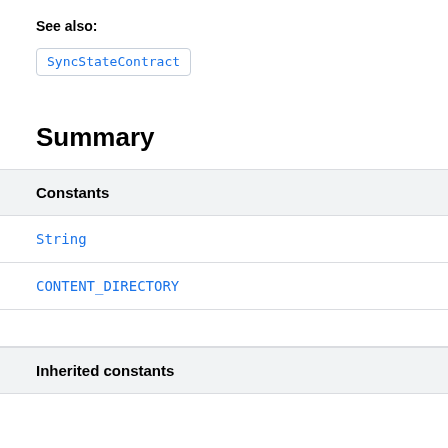See also:
SyncStateContract
Summary
| Constants |
| --- |
| String |
| CONTENT_DIRECTORY |
| Inherited constants |
| --- |